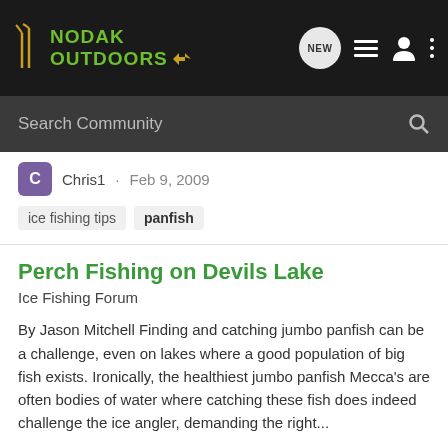NODAK OUTDOORS — navigation bar with NEW, list, user, and menu icons
Search Community
Chris1 · Feb 9, 2009
ice fishing tips
panfish
Perch Fishing on Devils Lake
Ice Fishing Forum
By Jason Mitchell Finding and catching jumbo panfish can be a challenge, even on lakes where a good population of big fish exists. Ironically, the healthiest jumbo panfish Mecca's are often bodies of water where catching these fish does indeed challenge the ice angler, demanding the right...
0   375
Chris1 · Feb 9, 2009